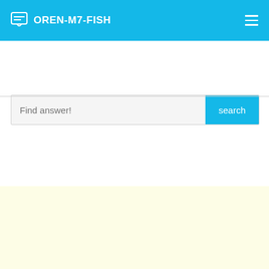OREN-M7-FISH
Find answer!
How much is a serving of shrimp?